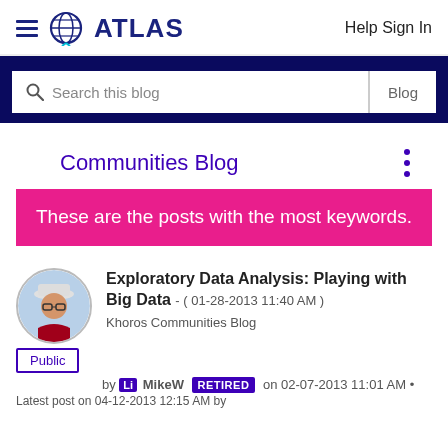ATLAS   Help Sign In
Search this blog   Blog
Communities Blog
These are the posts with the most keywords.
Exploratory Data Analysis: Playing with Big Data - ( 01-28-2013 11:40 AM )
Khoros Communities Blog
Public
by  MikeW RETIRED on 02-07-2013 11:01 AM •
Latest post on 04-12-2013 12:15 AM by